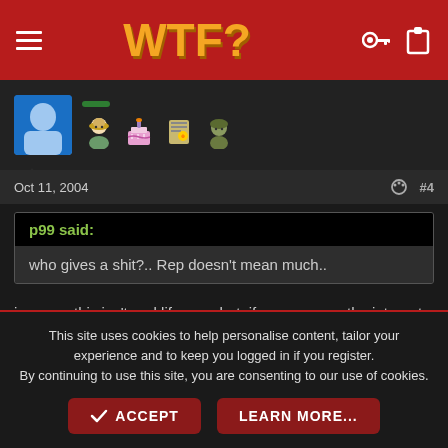WTF?
[Figure (screenshot): User avatar area with blue avatar thumbnail, green button, and emoji badges (person, birthday cake, lightbulb, soldier)]
Oct 11, 2004   #4
p99 said:
who gives a shit?.. Rep doesn't mean much..
i concur, this isn't real life. so what, if someone on the internet doesn't like your posts.
This site uses cookies to help personalise content, tailor your experience and to keep you logged in if you register.
By continuing to use this site, you are consenting to our use of cookies.